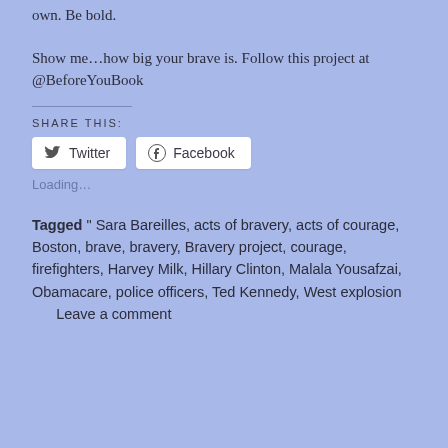own. Be bold.
Show me…how big your brave is. Follow this project at @BeforeYouBook
SHARE THIS:
[Figure (other): Twitter and Facebook share buttons]
Loading…
Tagged " Sara Bareilles, acts of bravery, acts of courage, Boston, brave, bravery, Bravery project, courage, firefighters, Harvey Milk, Hillary Clinton, Malala Yousafzai, Obamacare, police officers, Ted Kennedy, West explosion      Leave a comment